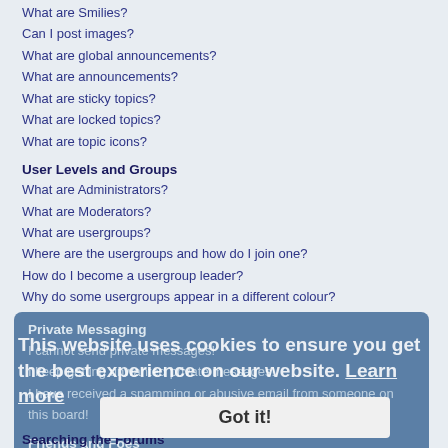What are Smilies?
Can I post images?
What are global announcements?
What are announcements?
What are sticky topics?
What are locked topics?
What are topic icons?
User Levels and Groups
What are Administrators?
What are Moderators?
What are usergroups?
Where are the usergroups and how do I join one?
How do I become a usergroup leader?
Why do some usergroups appear in a different colour?
What is a “Default usergroup”?
What is “The team” link?
Private Messaging
I cannot send private messages!
I keep getting unwanted private messages!
I have received a spamming or abusive email from someone on this board!
Friends and Foes
What are my Friends and Foes lists?
How can I add / remove users to my Friends or Foes list?
Searching the Forums